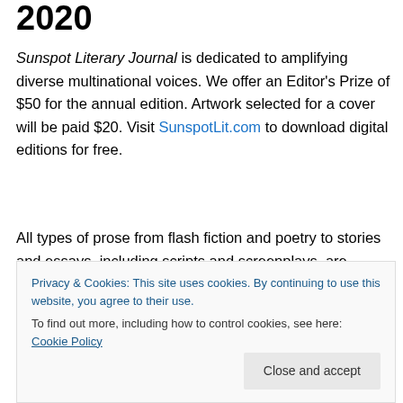2020
Sunspot Literary Journal is dedicated to amplifying diverse multinational voices. We offer an Editor's Prize of $50 for the annual edition. Artwork selected for a cover will be paid $20. Visit SunspotLit.com to download digital editions for free.
All types of prose from flash fiction and poetry to stories and essays, including scripts and screenplays, are welcome. We also accept long-form, novelette, and novella length works up to 49,000 words. Translations
Privacy & Cookies: This site uses cookies. By continuing to use this website, you agree to their use.
To find out more, including how to control cookies, see here: Cookie Policy
Close and accept